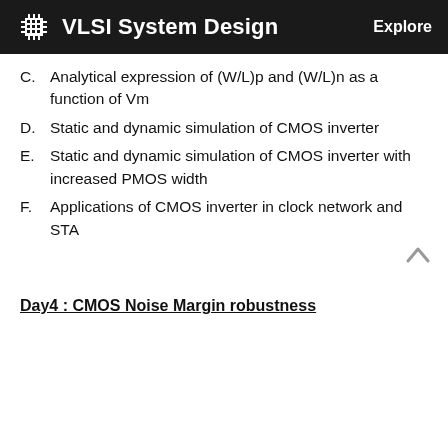VLSI System Design   Explore
C. Analytical expression of (W/L)p and (W/L)n as a function of Vm
D. Static and dynamic simulation of CMOS inverter
E. Static and dynamic simulation of CMOS inverter with increased PMOS width
F. Applications of CMOS inverter in clock network and STA
Day4 : CMOS Noise Margin robustness